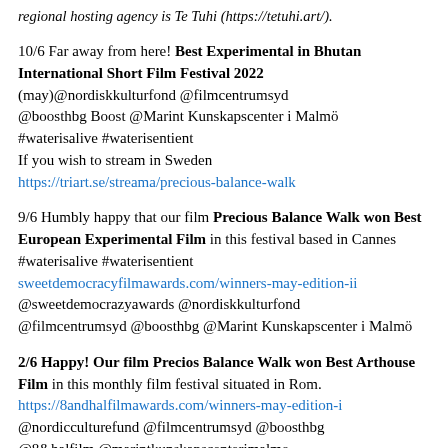regional hosting agency is Te Tuhi (https://tetuhi.art/).
10/6 Far away from here! Best Experimental in Bhutan International Short Film Festival 2022 (may)@nordiskkulturfond @filmcentrumsyd @boosthbg Boost @Marint Kunskapscenter i Malmö #waterisalive #waterisentient If you wish to stream in Sweden https://triart.se/streama/precious-balance-walk
9/6 Humbly happy that our film Precious Balance Walk won Best European Experimental Film in this festival based in Cannes #waterisalive #waterisentient sweetdemocracyfilmawards.com/winners-may-edition-ii @sweetdemocrazyawards @nordiskkulturfond @filmcentrumsyd @boosthbg @Marint Kunskapscenter i Malmö
2/6 Happy! Our film Precios Balance Walk won Best Arthouse Film in this monthly film festival situated in Rom. https://8andhalfilmawards.com/winners-may-edition-i @nordicculturefund @filmcentrumsyd @boosthbg @8&halfilm @marintkunskapscenterimalmo